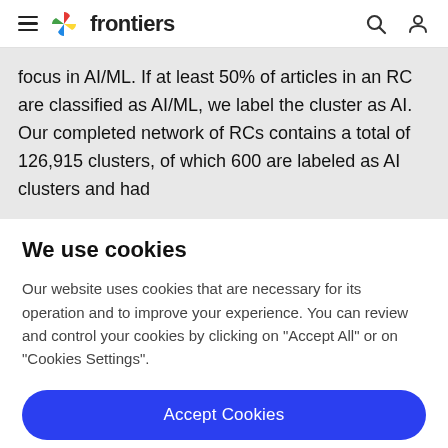frontiers
focus in AI/ML. If at least 50% of articles in an RC are classified as AI/ML, we label the cluster as AI. Our completed network of RCs contains a total of 126,915 clusters, of which 600 are labeled as AI clusters and had
We use cookies
Our website uses cookies that are necessary for its operation and to improve your experience. You can review and control your cookies by clicking on "Accept All" or on "Cookies Settings".
Accept Cookies
Cookies Settings